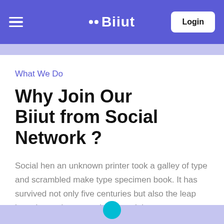Biiut — Login
What We Do
Why Join Our Biiut from Social Network ?
Social hen an unknown printer took a galley of type and scrambled make type specimen book. It has survived not only five centuries but also the leap into electronic typesetting, remaining essentialunchanged they popularised with release.